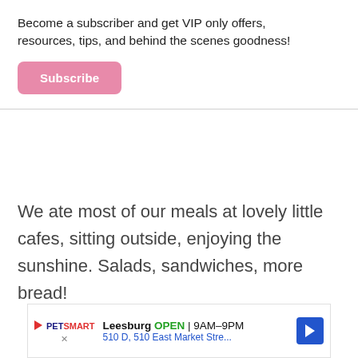×
Become a subscriber and get VIP only offers, resources, tips, and behind the scenes goodness!
Subscribe
We ate most of our meals at lovely little cafes, sitting outside, enjoying the sunshine. Salads, sandwiches, more bread!
[Figure (screenshot): PetSmart advertisement banner showing Leesburg location, OPEN 9AM–9PM, 510 D, 510 East Market Stre..., with a blue navigation arrow icon]